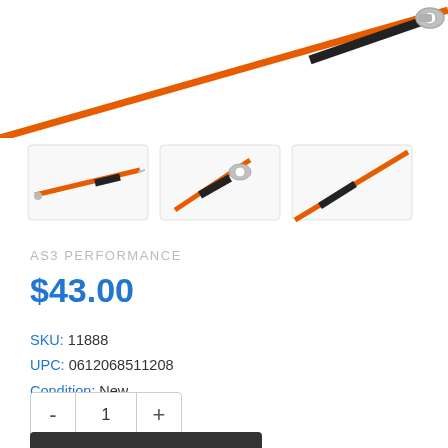[Figure (photo): Orange and black braided brake line with chrome banjo bolt fitting, shown diagonally from upper left to lower right against white background. Partial view cropped at top.]
[Figure (photo): Three thumbnail product images of orange and black brake line: full line view, close-up of banjo fitting, and close-up of cable end.]
AS3 PERFORMANCE
$43.00
SKU: 11888
UPC: 0612068511208
Condition: New